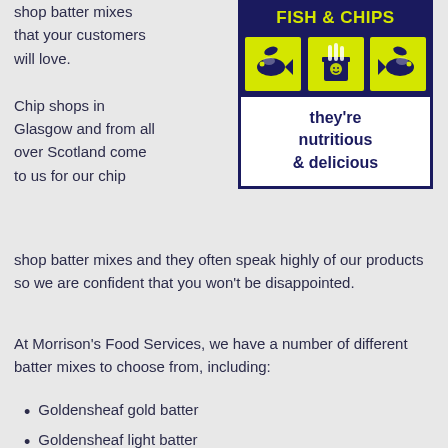shop batter mixes that your customers will love.
[Figure (illustration): Fish & Chips promotional box with dark navy background, yellow text reading FISH & CHIPS, three yellow boxes with cartoon fish and chips illustrations, and text 'they're nutritious & delicious']
Chip shops in Glasgow and from all over Scotland come to us for our chip shop batter mixes and they often speak highly of our products so we are confident that you won't be disappointed.
At Morrison's Food Services, we have a number of different batter mixes to choose from, including:
Goldensheaf gold batter
Goldensheaf light batter